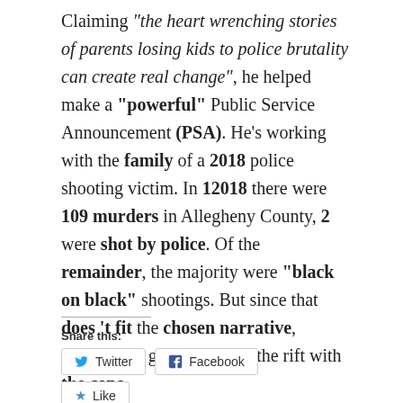Claiming "the heart wrenching stories of parents losing kids to police brutality can create real change", he helped make a "powerful" Public Service Announcement (PSA). He's working with the family of a 2018 police shooting victim. In 12018 there were 109 murders in Allegheny County, 2 were shot by police. Of the remainder, the majority were "black on black" shootings. But since that does 't fit the chosen narrative, everyone is going the heal the rift with the cops.
Share this:
Twitter
Facebook
Like